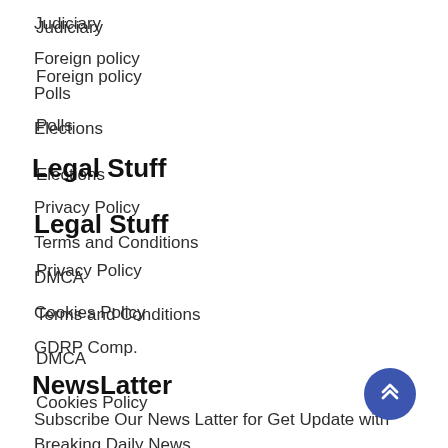Judiciary
Foreign policy
Polls
Elections
Legal Stuff
Privacy Policy
Terms and Conditions
DMCA
Cookies Policy
GDRP Comp.
NewsLatter
Subscribe Our News Latter for Get Update with Breaking Daily News.
[Figure (illustration): Back to top button — circular dark blue button with double chevron up arrow]